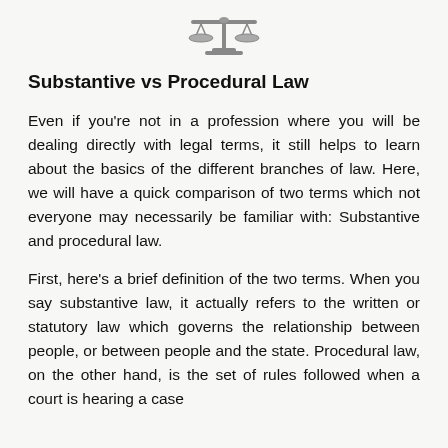[Figure (illustration): A scales of justice icon/logo centered at the top of the page]
Substantive vs Procedural Law
Even if you're not in a profession where you will be dealing directly with legal terms, it still helps to learn about the basics of the different branches of law. Here, we will have a quick comparison of two terms which not everyone may necessarily be familiar with: Substantive and procedural law.
First, here’s a brief definition of the two terms. When you say substantive law, it actually refers to the written or statutory law which governs the relationship between people, or between people and the state. Procedural law, on the other hand, is the set of rules followed when a court is hearing a case